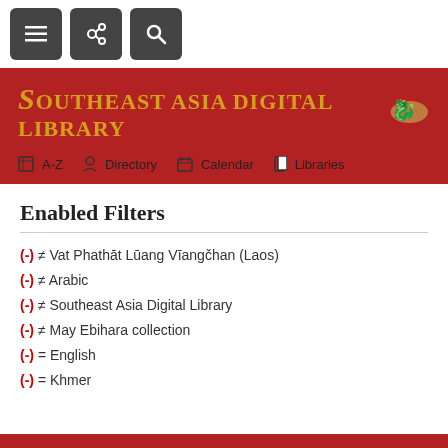[Figure (screenshot): Top navigation bar with three dark square icon buttons: hamburger menu, link/share, and search]
[Figure (screenshot): Red banner with Southeast Asia Digital Library logo in gold text and decorative dragon icon, with navigation items: A-Z, Directory, Calendar, Libraries]
Enabled Filters
(-) ≠ Vat Phathāt Lūang Vīangčhan (Laos)
(-) ≠ Arabic
(-) ≠ Southeast Asia Digital Library
(-) ≠ May Ebihara collection
(-) = English
(-) = Khmer